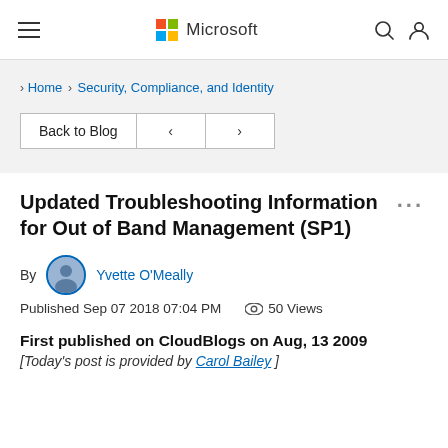Microsoft navigation bar with hamburger menu, Microsoft logo, search and user icons
Home › Security, Compliance, and Identity
Back to Blog  <  >
Updated Troubleshooting Information for Out of Band Management (SP1)
By Yvette O'Meally
Published Sep 07 2018 07:04 PM  50 Views
First published on CloudBlogs on Aug, 13 2009
[Today's post is provided by Carol Bailey ]